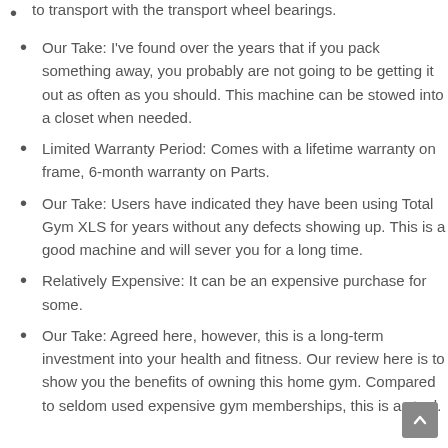to transport with the transport wheel bearings.
Our Take: I've found over the years that if you pack something away, you probably are not going to be getting it out as often as you should. This machine can be stowed into a closet when needed.
Limited Warranty Period: Comes with a lifetime warranty on frame, 6-month warranty on Parts.
Our Take: Users have indicated they have been using Total Gym XLS for years without any defects showing up. This is a good machine and will sever you for a long time.
Relatively Expensive: It can be an expensive purchase for some.
Our Take: Agreed here, however, this is a long-term investment into your health and fitness. Our review here is to show you the benefits of owning this home gym. Compared to seldom used expensive gym memberships, this is a steal.